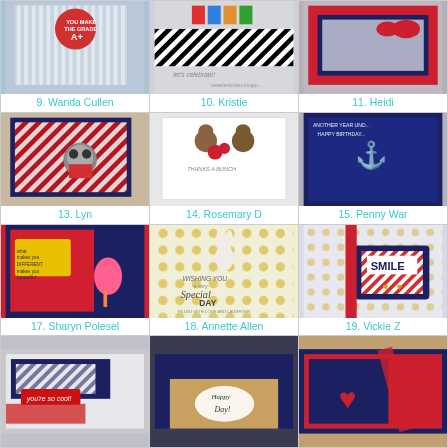[Figure (photo): Handmade card with red polka dot balloon, 'You Make the Grade A+' text, striped background]
9. Wanda Cullen
[Figure (photo): Handmade card with 'let's celebrate!' text, black and white stripes, colorful letters]
10. Kristie
[Figure (photo): Handmade card with red bow, navy and white lace, patriotic theme]
11. Heidi
[Figure (photo): Handmade card with raccoon holding envelope, red striped background, patriotic theme]
13. Lyn
[Figure (photo): Handmade white card with teddy bears and 'Thanks a bunch' sentiment and flowers]
14. Rosemary D
[Figure (photo): Handmade navy card with gold anchor, birthday sentiment, 'Another Year Und...' text]
15. Penny War
[Figure (photo): Handmade card with flamingo, 'what makes you different makes you beautiful' text, red and yellow]
17. Sharyn Polesel
[Figure (photo): Handmade card with bunny, gold polka dots, 'Wishing You a very Special Day filled with love and laughter']
18. Annette Allen
[Figure (photo): Handmade card with 'SMILE' text block, navy scallop frame, striped pattern, hearts]
19. Vickie Z
[Figure (photo): Handmade card with 'you're so cool!' text, navy and red, partial view]
[Figure (photo): Handmade card with 'Happy Day!' text, navy and kraft colors, partial view]
[Figure (photo): Handmade card with red heart, navy and red patriotic theme, partial view]